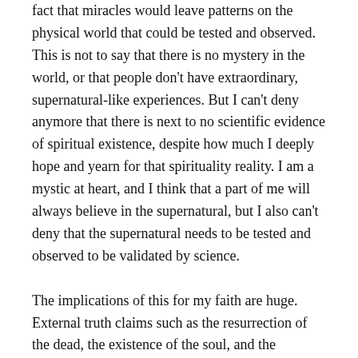fact that miracles would leave patterns on the physical world that could be tested and observed. This is not to say that there is no mystery in the world, or that people don't have extraordinary, supernatural-like experiences. But I can't deny anymore that there is next to no scientific evidence of spiritual existence, despite how much I deeply hope and yearn for that spirituality reality. I am a mystic at heart, and I think that a part of me will always believe in the supernatural, but I also can't deny that the supernatural needs to be tested and observed to be validated by science.
The implications of this for my faith are huge. External truth claims such as the resurrection of the dead, the existence of the soul, and the